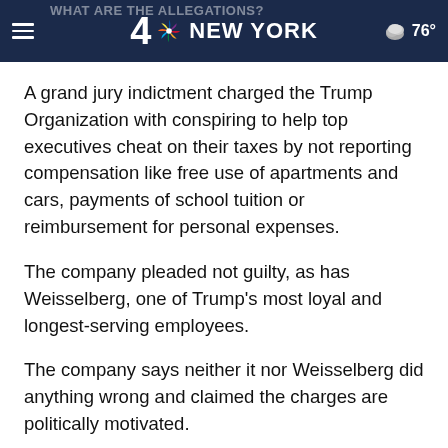NBC 4 NEW YORK — 76°
A grand jury indictment charged the Trump Organization with conspiring to help top executives cheat on their taxes by not reporting compensation like free use of apartments and cars, payments of school tuition or reimbursement for personal expenses.
The company pleaded not guilty, as has Weisselberg, one of Trump's most loyal and longest-serving employees.
The company says neither it nor Weisselberg did anything wrong and claimed the charges are politically motivated.
Weisselberg is also accused of cheating on his taxes by disguising that his full-time residence was in New York City,